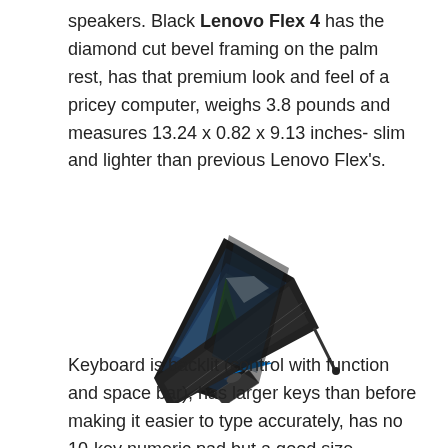speakers. Black Lenovo Flex 4 has the diamond cut bevel framing on the palm rest, has that premium look and feel of a pricey computer, weighs 3.8 pounds and measures 13.24 x 0.82 x 9.13 inches- slim and lighter than previous Lenovo Flex's.
[Figure (photo): Lenovo Flex 4 laptop shown in 2-in-1 convertible tent mode with screen open fully backwards, keyboard facing down, showing Windows 10 desktop on screen.]
Keyboard is backlit (control with function and space bar), has larger keys than before making it easier to type accurately, has no 10-key numeric pad but a good size responsive touchpad underneath the space bar. Due to design of 2-in-1 convertible you won't get a DVD Drive